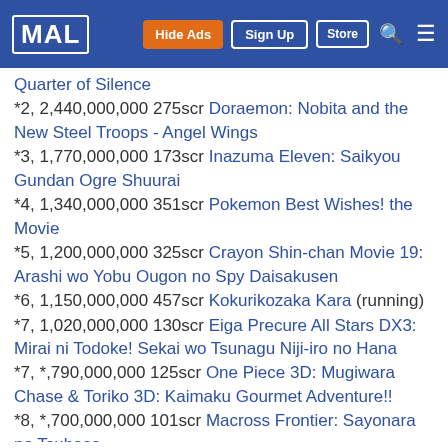MAL | Hide Ads | Sign Up | Store
Quarter of Silence
*2, 2,440,000,000 275scr Doraemon: Nobita and the New Steel Troops - Angel Wings
*3, 1,770,000,000 173scr Inazuma Eleven: Saikyou Gundan Ogre Shuurai
*4, 1,340,000,000 351scr Pokemon Best Wishes! the Movie
*5, 1,200,000,000 325scr Crayon Shin-chan Movie 19: Arashi wo Yobu Ougon no Spy Daisakusen
*6, 1,150,000,000 457scr Kokurikozaka Kara (running)
*7, 1,020,000,000 130scr Eiga Precure All Stars DX3: Mirai ni Todoke! Sekai wo Tsunagu Niji-iro no Hana
*7, *,790,000,000 125scr One Piece 3D: Mugiwara Chase & Toriko 3D: Kaimaku Gourmet Adventure!!
*8, *,700,000,000 101scr Macross Frontier: Sayonara no Tsubasa
*9, *,600,000,000 279scr Tezuka Osamu no Buddha: Akai Sabaku yo! Utsukushiku (running)
10, *,470,000,000 *90scr Fullmetal Alchemist: Milos no Seinaru Hoshi (running)
11, *,387,000,000 422scr Toufu Kozou
12, *,320,000,000 107scr Choburaschka & Kuma no Gokkow